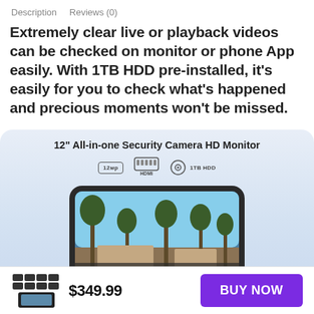Description   Reviews (0)
Extremely clear live or playback videos can be checked on monitor or phone App easily. With 1TB HDD pre-installed, it's easily for you to check what's happened and precious moments won't be missed.
[Figure (photo): Product image of 12-inch All-in-one Security Camera HD Monitor with 12MP, HDMI, and 1TB HDD icons, showing a monitor displaying a resort pool scene with palm trees.]
$349.99
BUY NOW